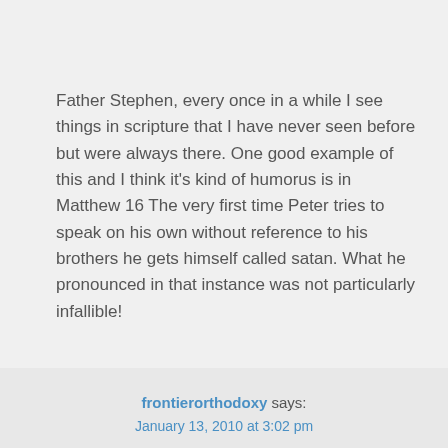Father Stephen, every once in a while I see things in scripture that I have never seen before but were always there. One good example of this and I think it's kind of humorus is in Matthew 16 The very first time Peter tries to speak on his own without reference to his brothers he gets himself called satan. What he pronounced in that instance was not particularly infallible!
frontierorthodoxy says:
January 13, 2010 at 3:02 pm